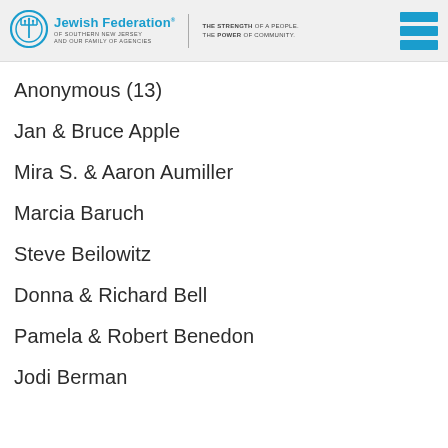Jewish Federation of Southern New Jersey and our Family of Agencies — The Strength of a People. The Power of Community.
Anonymous (13)
Jan & Bruce Apple
Mira S. & Aaron Aumiller
Marcia Baruch
Steve Beilowitz
Donna & Richard Bell
Pamela & Robert Benedon
Jodi Berman